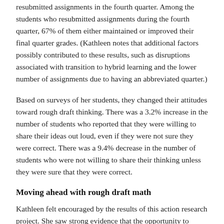resubmitted assignments in the fourth quarter. Among the students who resubmitted assignments during the fourth quarter, 67% of them either maintained or improved their final quarter grades. (Kathleen notes that additional factors possibly contributed to these results, such as disruptions associated with transition to hybrid learning and the lower number of assignments due to having an abbreviated quarter.)
Based on surveys of her students, they changed their attitudes toward rough draft thinking. There was a 3.2% increase in the number of students who reported that they were willing to share their ideas out loud, even if they were not sure they were correct. There was a 9.4% decrease in the number of students who were not willing to share their thinking unless they were sure that they were correct.
Moving ahead with rough draft math
Kathleen felt encouraged by the results of this action research project. She saw strong evidence that the opportunity to resubmit assignments and the strategies for encouraging